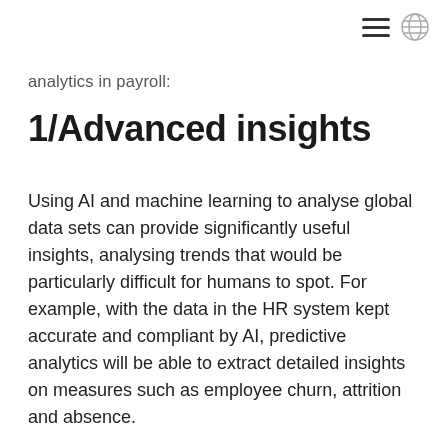[hamburger menu icon] [globe icon]
analytics in payroll:
1/Advanced insights
Using AI and machine learning to analyse global data sets can provide significantly useful insights, analysing trends that would be particularly difficult for humans to spot. For example, with the data in the HR system kept accurate and compliant by AI, predictive analytics will be able to extract detailed insights on measures such as employee churn, attrition and absence.

Alongside this, planning for the future will be made easier by embracing this technology. Not